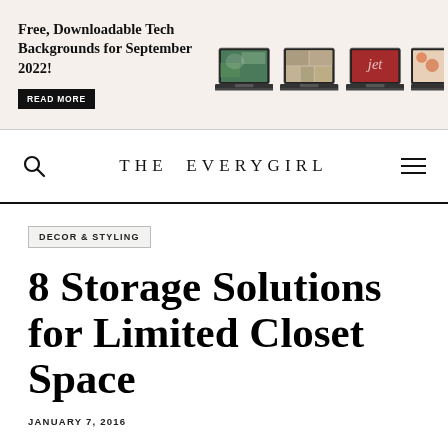[Figure (infographic): Promotional banner for 'Free, Downloadable Tech Backgrounds for September 2022!' with a READ MORE button and images of laptops showing various wallpapers]
THE EVERYGIRL
DECOR & STYLING
8 Storage Solutions for Limited Closet Space
JANUARY 7, 2016